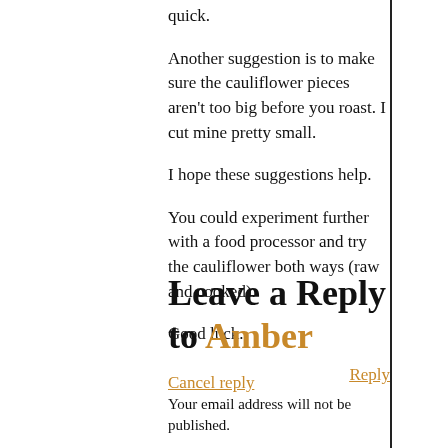quick.
Another suggestion is to make sure the cauliflower pieces aren't too big before you roast. I cut mine pretty small.
I hope these suggestions help.
You could experiment further with a food processor and try the cauliflower both ways (raw and cooked).
Good luck.
Reply
Leave a Reply to Amber
Cancel reply
Your email address will not be published.